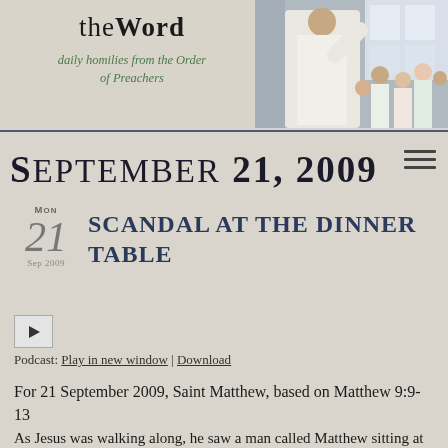theWord — daily homilies from the Order of Preachers
[Figure (photo): Photo of a priest in white vestments speaking to a congregation of children and adults]
September 21, 2009
Scandal at the Dinner Table
[Figure (other): Audio play button control]
Podcast: Play in new window | Download
For 21 September 2009, Saint Matthew, based on Matthew 9:9-13
As Jesus was walking along, he saw a man called Matthew sitting at